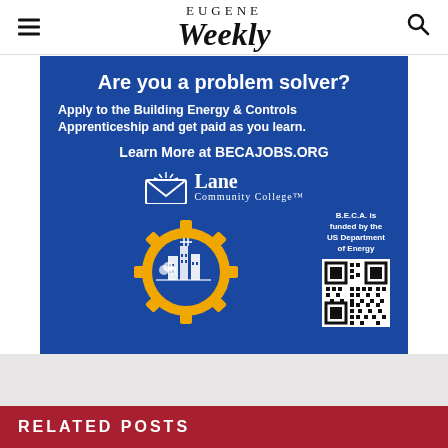EUGENE Weekly
[Figure (infographic): Blue advertisement for Lane Community College Building Energy & Controls Apprenticeship (B.E.C.A.) program. Text reads: 'Are you a problem solver? Apply to the Building Energy & Controls Apprenticeship and get paid as you learn. Learn More at BECAJOBS.ORG'. Lane Community College logo shown with envelope/book icon. Gold gear icon with city buildings inside on the left. Small text: 'B.E.C.A. is funded by the US Department of Energy'. QR code on the right.]
RELATED POSTS